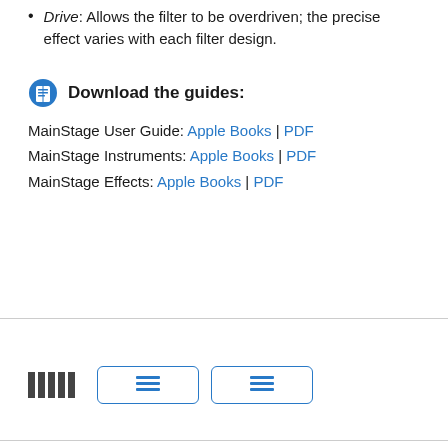Drive: Allows the filter to be overdriven; the precise effect varies with each filter design.
[Figure (infographic): Download the guides section with book icon and bold header text]
MainStage User Guide: Apple Books | PDF
MainStage Instruments: Apple Books | PDF
MainStage Effects: Apple Books | PDF
[Figure (infographic): Page footer navigation area with grid icon and two blue-bordered navigation buttons with list icons]